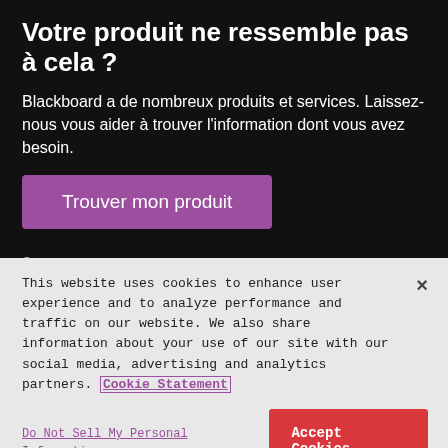Votre produit ne ressemble pas à cela ?
Blackboard a de nombreux produits et services. Laissez-nous vous aider à trouver l'information dont vous avez besoin.
Trouver mon produit
Consultez le site Blackboard.com
© Copyright 2018 Blackboard Inc.
Avis de non-responsabilité
Politique de confidentialité
This website uses cookies to enhance user experience and to analyze performance and traffic on our website. We also share information about your use of our site with our social media, advertising and analytics partners. Cookie Statement
Do Not Sell My Personal Information
Accept Cookies